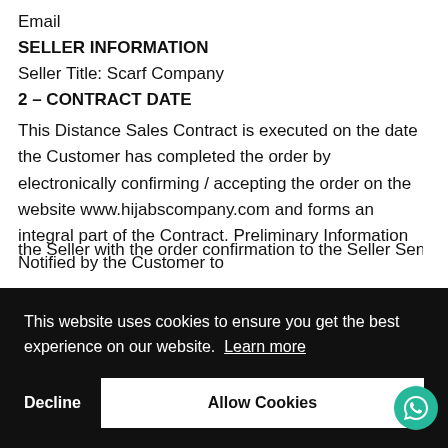Email
SELLER INFORMATION
Seller Title:  Scarf Company
2 – CONTRACT DATE
This Distance Sales Contract is executed on the date the Customer has completed the order by electronically confirming / accepting the order on the website www.hijabscompany.com and forms an integral part of the Contract. Preliminary Information Notified by the Customer to the Seller with the order confirmation to the Seller Sent
This website uses cookies to ensure you get the best experience on our website. Learn more
Decline
Allow Cookies